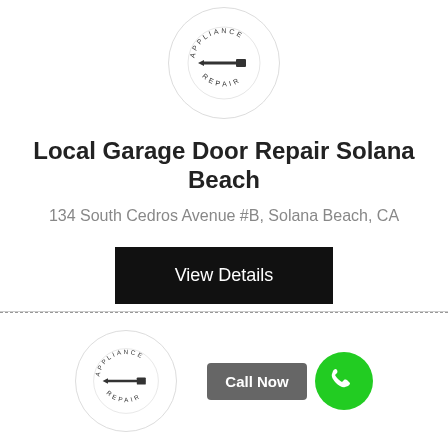[Figure (logo): Circular logo with screwdriver icon and text 'APPLIANCE REPAIR' around the border]
Local Garage Door Repair Solana Beach
134 South Cedros Avenue #B, Solana Beach, CA
View Details
[Figure (logo): Circular logo with screwdriver icon and text 'APPLIANCE REPAIR' around the border]
Call Now